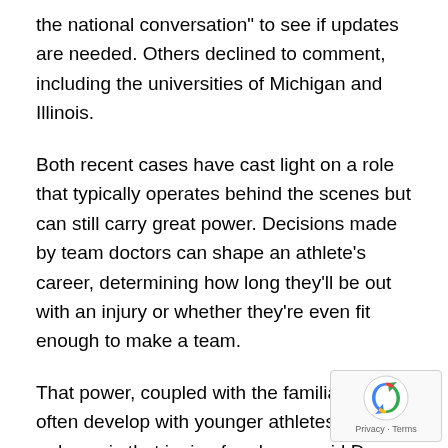the national conversation" to see if updates are needed. Others declined to comment, including the universities of Michigan and Illinois.
Both recent cases have cast light on a role that typically operates behind the scenes but can still carry great power. Decisions made by team doctors can shape an athlete's career, determining how long they'll be out with an injury or whether they're even fit enough to make a team.
That power, coupled with the familiarity they often develop with younger athletes, creates a dynamic that is ripe for abuse, said Dr. Saul Marks, a sports psychiatrist at the University of Toronto.
“Athletes are especially vulnerable at this age. They’re for guidance and growth, and so the intensity in the
[Figure (other): reCAPTCHA badge with rotating arrows icon and Privacy · Terms text]